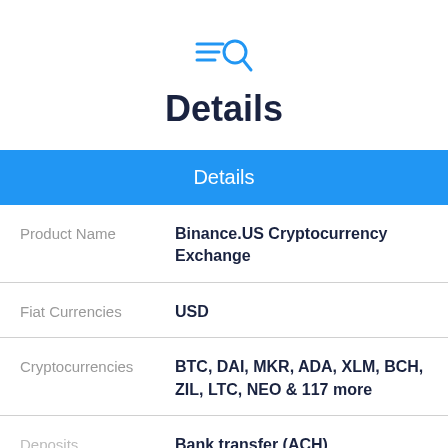[Figure (logo): Blue search/list icon with magnifying glass]
Details
Details
| Product Name | Binance.US Cryptocurrency Exchange |
| Fiat Currencies | USD |
| Cryptocurrencies | BTC, DAI, MKR, ADA, XLM, BCH, ZIL, LTC, NEO & 117 more |
| Deposits | Bank transfer (ACH) |